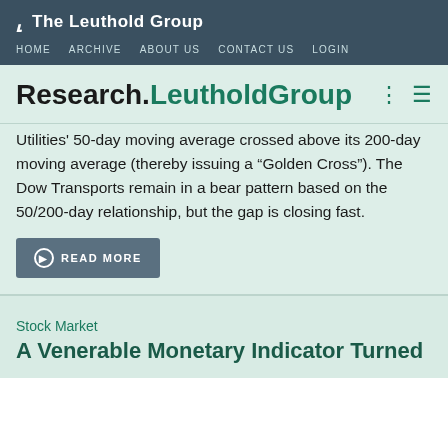The Leuthold Group — HOME  ARCHIVE  ABOUT US  CONTACT US  LOGIN
Research.LeutholdGroup
Utilities' 50-day moving average crossed above its 200-day moving average (thereby issuing a “Golden Cross”). The Dow Transports remain in a bear pattern based on the 50/200-day relationship, but the gap is closing fast.
READ MORE
Stock Market
A Venerable Monetary Indicator Turned